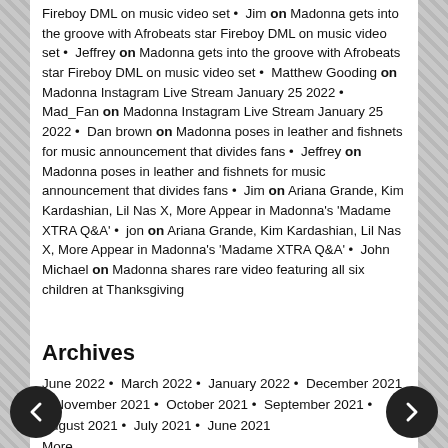Fireboy DML on music video set • Jim on Madonna gets into the groove with Afrobeats star Fireboy DML on music video set • Jeffrey on Madonna gets into the groove with Afrobeats star Fireboy DML on music video set • Matthew Gooding on Madonna Instagram Live Stream January 25 2022 • Mad_Fan on Madonna Instagram Live Stream January 25 2022 • Dan brown on Madonna poses in leather and fishnets for music announcement that divides fans • Jeffrey on Madonna poses in leather and fishnets for music announcement that divides fans • Jim on Ariana Grande, Kim Kardashian, Lil Nas X, More Appear in Madonna's 'Madame XTRA Q&A' • jon on Ariana Grande, Kim Kardashian, Lil Nas X, More Appear in Madonna's 'Madame XTRA Q&A' • John Michael on Madonna shares rare video featuring all six children at Thanksgiving
Archives
June 2022 • March 2022 • January 2022 • December 2021 • November 2021 • October 2021 • September 2021 • August 2021 • July 2021 • June 2021
More...